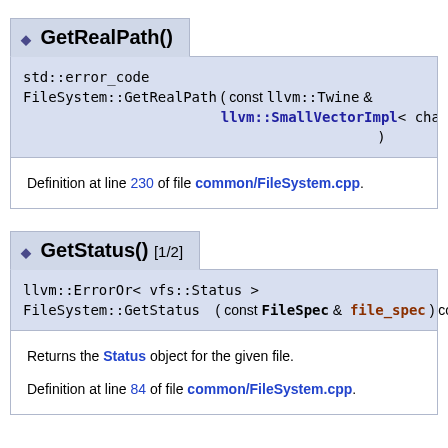◆ GetRealPath()
std::error_code FileSystem::GetRealPath ( const llvm::Twine & path, llvm::SmallVectorImpl< char > & output ) const
Definition at line 230 of file common/FileSystem.cpp.
◆ GetStatus() [1/2]
llvm::ErrorOr< vfs::Status > FileSystem::GetStatus ( const FileSpec & file_spec ) const
Returns the Status object for the given file.
Definition at line 84 of file common/FileSystem.cpp.